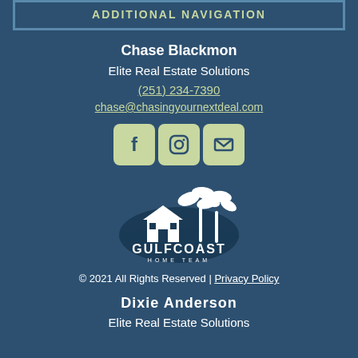ADDITIONAL NAVIGATION
Chase Blackmon
Elite Real Estate Solutions
(251) 234-7390
chase@chasingyournextdeal.com
[Figure (infographic): Social media icons: Facebook, Instagram, Email]
[Figure (logo): Gulfcoast Home Team logo with palm trees and house]
© 2021 All Rights Reserved | Privacy Policy
Dixie Anderson
Elite Real Estate Solutions